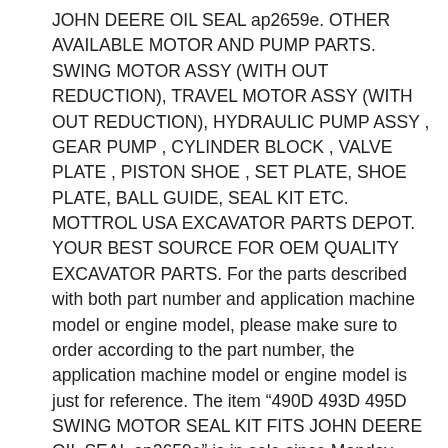JOHN DEERE OIL SEAL ap2659e. OTHER AVAILABLE MOTOR AND PUMP PARTS. SWING MOTOR ASSY (WITH OUT REDUCTION), TRAVEL MOTOR ASSY (WITH OUT REDUCTION), HYDRAULIC PUMP ASSY , GEAR PUMP , CYLINDER BLOCK , VALVE PLATE , PISTON SHOE , SET PLATE, SHOE PLATE, BALL GUIDE, SEAL KIT ETC. MOTTROL USA EXCAVATOR PARTS DEPOT. YOUR BEST SOURCE FOR OEM QUALITY EXCAVATOR PARTS. For the parts described with both part number and application machine model or engine model, please make sure to order according to the part number, the application machine model or engine model is just for reference. The item “490D 493D 495D SWING MOTOR SEAL KIT FITS JOHN DEERE OIL SEAL ap2659e” is in sale since Monday, December 9, 2019. This item is in the category “Business & Industrial\Heavy Equipment, Parts & Attachments\Heavy Equipment Parts & Accessories\Seals & O-Rings”. The seller is “mottrolusa” and is located in Rancho